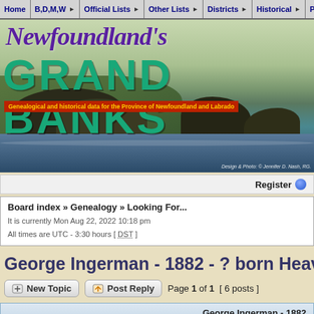Home | B,D,M,W | Official Lists | Other Lists | Districts | Historical | Photos | Ot...
[Figure (photo): Newfoundland's Grand Banks website banner with script title, rocky coastal landscape photograph, and red subtitle bar reading 'Genealogical and historical data for the Province of Newfoundland and Labrador'. Credit: Design & Photo © Jennifer D. Nash, RG.]
Register
Board index » Genealogy » Looking For...
It is currently Mon Aug 22, 2022 10:18 pm
All times are UTC - 3:30 hours [ DST ]
George Ingerman - 1882 - ? born Heavy Tree R...
New Topic   Post Reply   Page 1 of 1  [ 6 posts ]
George Ingerman - 1882...